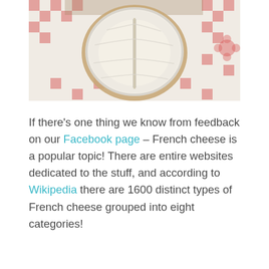[Figure (photo): Overhead view of a round French brie/camembert cheese on a red and white checkered cloth/tablecloth, with the top rind partially open, set against a rustic background.]
If there’s one thing we know from feedback on our Facebook page – French cheese is a popular topic! There are entire websites dedicated to the stuff, and according to Wikipedia there are 1600 distinct types of French cheese grouped into eight categories!